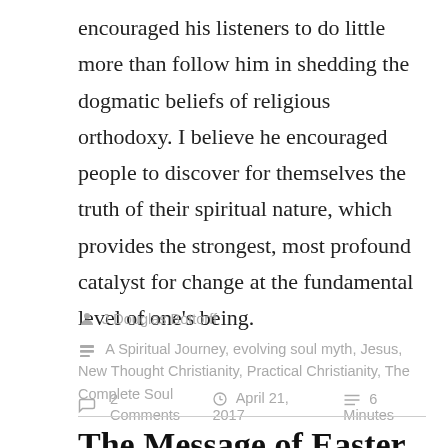encouraged his listeners to do little more than follow him in shedding the dogmatic beliefs of religious orthodoxy. I believe he encouraged people to discover for themselves the truth of their spiritual nature, which provides the strongest, most profound catalyst for change at the fundamental level of one's being.
J Douglas Bottorff
A Spiritual Journey, evolving soul myth, Jesus, New Thought Christianity, Practical Christianity, The Complete Soul
2 Comments   April 21, 2017   6 Minutes
The Message of Easter